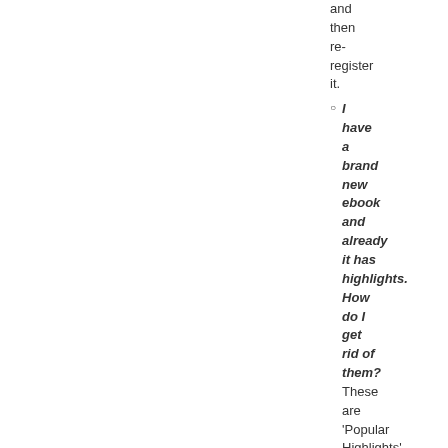and then re-register it.
I have a brand new ebook and already it has highlights. How do I get rid of them? These are 'Popular Highlights'. They
These are 'Popular Highlights'. They